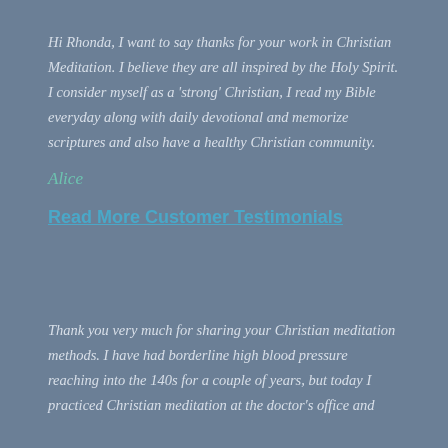Hi Rhonda, I want to say thanks for your work in Christian Meditation. I believe they are all inspired by the Holy Spirit. I consider myself as a 'strong' Christian, I read my Bible everyday along with daily devotional and memorize scriptures and also have a healthy Christian community.
Alice
Read More Customer Testimonials
Thank you very much for sharing your Christian meditation methods. I have had borderline high blood pressure reaching into the 140s for a couple of years, but today I practiced Christian meditation at the doctor's office and...